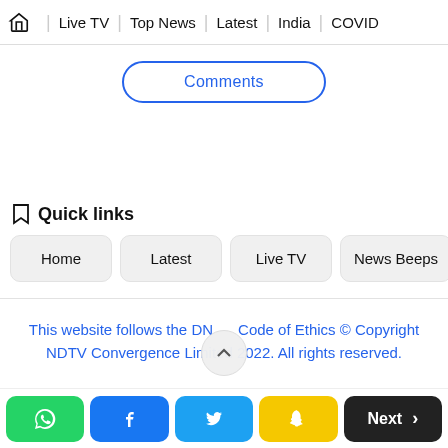Home | Live TV | Top News | Latest | India | COVID
Comments
Quick links
Home
Latest
Live TV
News Beeps
Ele
This website follows the DN...Code of Ethics © Copyright NDTV Convergence Limited 2022. All rights reserved.
WhatsApp | Facebook | Twitter | Snapchat | Next >